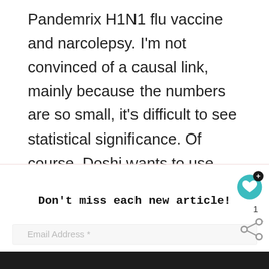Pandemrix H1N1 flu vaccine and narcolepsy. I'm not convinced of a causal link, mainly because the numbers are so small, it's difficult to see statistical significance. Of course, Doshi wants to use low-quality complaints as definitive. It is not.
Don't miss each new article!
[Figure (screenshot): Website UI elements: a teal heart/like button with a black plus badge, a count of 1, and a share icon on the right side. Below is an email subscription field with placeholder text 'Email Address *'. At the bottom is a dark ad bar with a hand heart silhouette image and the text '#ViralKindness'.]